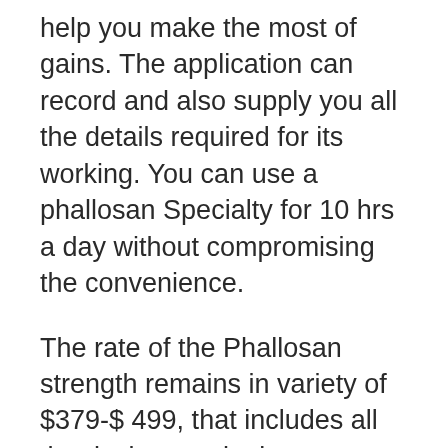help you make the most of gains. The application can record and also supply you all the details required for its working. You can use a phallosan Specialty for 10 hrs a day without compromising the convenience.
The rate of the Phallosan strength remains in variety of $379-$ 499, that includes all the devices and a luggage. The company also offers its clients by offering a money-back guarantee; therefore, you can claim all your money even if you are not pleased.
Order this modern-designed member tool for your nerve and also spend quality time with your companions.
2. Size Guarantee...